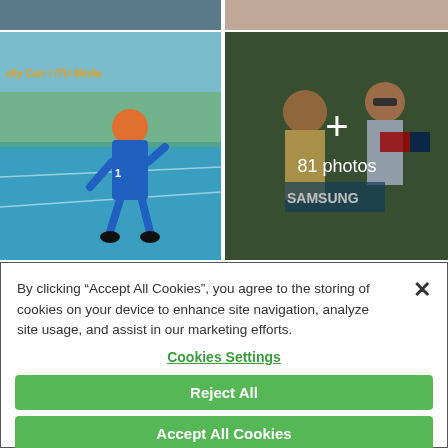[Figure (photo): Top strip of two photos partially visible: left shows dark background, right shows skin tones]
[Figure (photo): Photo of triathlete on blue track wearing orange cap and blue suit, with ITU Media watermark. Text credit: elly Carr / ITU Media]
[Figure (photo): Photo of athletes celebrating, overlaid with '+' and '81 photos' text]
By clicking "Accept All Cookies", you agree to the storing of cookies on your device to enhance site navigation, analyze site usage, and assist in our marketing efforts.
Cookies Settings
Reject All
Accept All Cookies